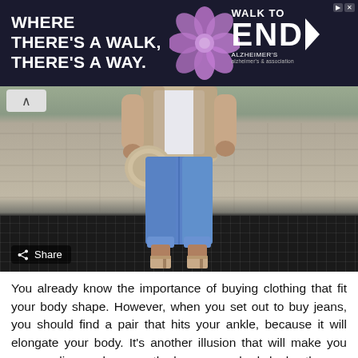[Figure (photo): Advertisement banner for Walk to End Alzheimer's with text 'WHERE THERE'S A WALK, THERE'S A WAY.' and a purple flower graphic on dark background]
[Figure (photo): Photo of a woman from shoulders down wearing blue jeans, white top, patterned jacket, carrying a snake-print bag, wearing heeled sandals, standing on a metal grate in front of a stone wall. Share button overlay visible.]
You already know the importance of buying clothing that fit your body shape. However, when you set out to buy jeans, you should find a pair that hits your ankle, because it will elongate your body. It's another illusion that will make you appear slimmer, because the longer your body looks, the